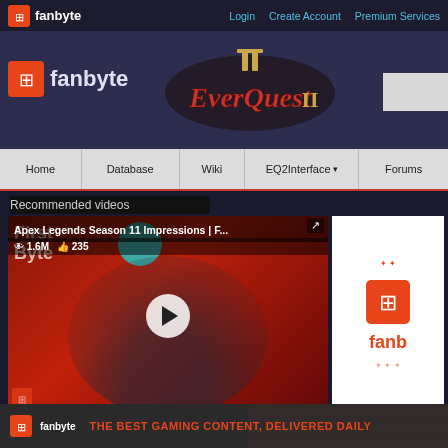fanbyte | Login | Create Account | Premium Services
[Figure (screenshot): Fanbyte website header with EverQuest II logo and navigation bar including Home, Database, Wiki, EQ2Interface, Forums]
Recommended videos
[Figure (screenshot): Video player showing Apex Legends Season 11 Impressions | F... with 1.6M views and 235 likes, play button visible]
[Figure (logo): Fanbyte logo sidebar advertisement]
close
[Figure (infographic): Fanbyte bottom banner: THE BEST GAMING CONTENT, DELIVERED DAILY]